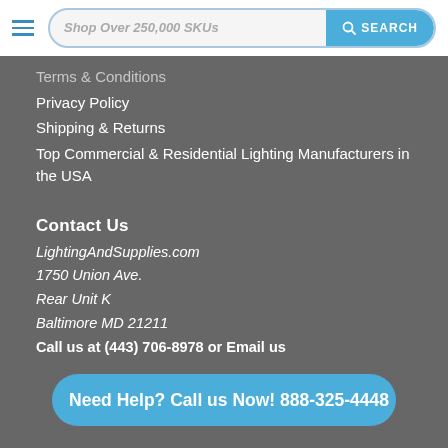Shop Over 250,000 SKUs — SEARCH
Terms & Conditions
Privacy Policy
Shipping & Returns
Top Commercial & Residential Lighting Manufacturers in the USA
Contact Us
LightingAndSupplies.com
1750 Union Ave.
Rear Unit K
Baltimore MD 21211
Call us at (443) 706-8978 or Email us
Need Help? Call us Now! 888-325-4448